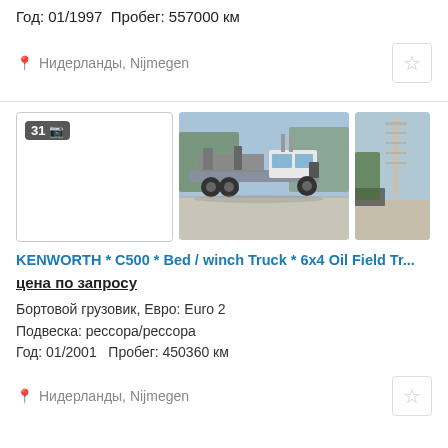Год: 01/1997  Пробег: 557000 км
Нидерланды, Nijmegen
[Figure (photo): Listing with photo count badge showing 31 photos, truck photo showing a white Kenworth C500 flatbed/winch truck, and a partial right image]
KENWORTH * C500 * Bed / winch Truck * 6x4 Oil Field Tr...
цена по запросу
Бортовой грузовик, Евро: Euro 2
Подвеска: рессора/рессора
Год: 01/2001   Пробег: 450360 км
Нидерланды, Nijmegen